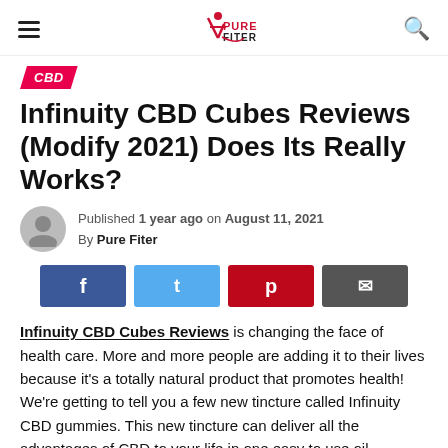Pure Fiter
CBD
Infinuity CBD Cubes Reviews (Modify 2021) Does Its Really Works?
Published 1 year ago on August 11, 2021
By Pure Fiter
[Figure (other): Social share buttons: Facebook, Twitter, Pinterest, Email]
Infinuity CBD Cubes Reviews is changing the face of health care. More and more people are adding it to their lives because it's a totally natural product that promotes health! We're getting to tell you a few new tincture called Infinuity CBD gummies. This new tincture can deliver all the advantages of CBD to your life in one easy to use oil product. The manufacturers guarantee it can indeed help